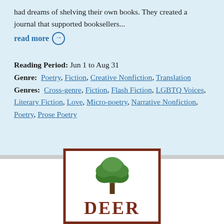had dreams of shelving their own books. They created a journal that supported booksellers...
read more →
Reading Period:  Jun 1 to Aug 31
Genre:  Poetry, Fiction, Creative Nonfiction, Translation
Genres:  Cross-genre, Fiction, Flash Fiction, LGBTQ Voices, Literary Fiction, Love, Micro-poetry, Narrative Nonfiction, Poetry, Prose Poetry
[Figure (logo): Logo with a dark red/brown border rectangle, a green oak tree illustration, and bold dark red text 'DEER' partially visible at the bottom]